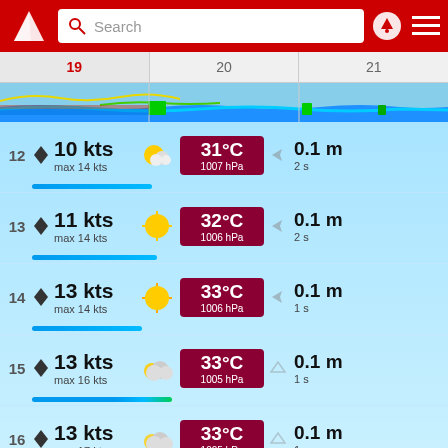[Figure (screenshot): Windguru/sailing weather app header with red background, logo, search bar, location pin and menu icons]
[Figure (infographic): Horizontal timeline showing days 19 (active/red), 20, 21 with wave profile chart below]
| Hour | Wind | Icon | Temp/Pressure | Wave Arrow | Wave Height/Period |
| --- | --- | --- | --- | --- | --- |
| 12 | 10 kts / max 14 kts | partly cloudy | 31°C / 1007 hPa | ▷ | 0.1 m / 2 s |
| 13 | 11 kts / max 14 kts | sunny | 32°C / 1006 hPa | ▷ | 0.1 m / 2 s |
| 14 | 13 kts / max 14 kts | sunny | 33°C / 1006 hPa | ▷ | 0.1 m / 1 s |
| 15 | 13 kts / max 16 kts | partly cloudy | 33°C / 1005 hPa | △ | 0.1 m / 1 s |
| 16 | 13 kts / max 17 kts | partly cloudy | 33°C / 1005 hPa | △ | 0.1 m / 1 s |